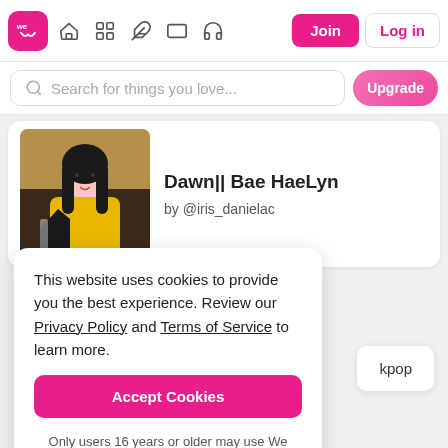[Figure (screenshot): We Heart It website navigation bar with logo, icons, Join and Log in buttons]
Search for things you love...
Upgrade
Dawn|| Bae HaeLyn
by @iris_danielac
This website uses cookies to provide you the best experience. Review our Privacy Policy and Terms of Service to learn more.
Accept Cookies
Only users 16 years or older may use We Heart It.
kpop
Similar articles